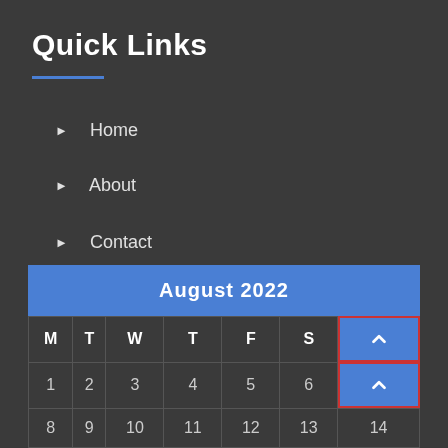Quick Links
Home
About
Contact
Privacy Policy
| M | T | W | T | F | S | S |
| --- | --- | --- | --- | --- | --- | --- |
| 1 | 2 | 3 | 4 | 5 | 6 | 7 |
| 8 | 9 | 10 | 11 | 12 | 13 | 14 |